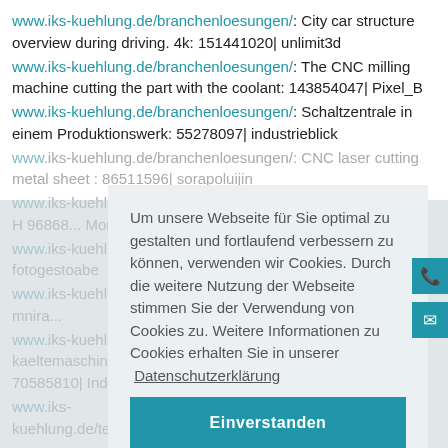www.iks-kuehlung.de/branchenloesungen/: City car structure overview during driving. 4k: 151441020| unlimit3d
www.iks-kuehlung.de/branchenloesungen/: The CNC milling machine cutting the part with the coolant: 143854047| Pixel_B
www.iks-kuehlung.de/branchenloesungen/: Schaltzentrale in einem Produktionswerk: 55278097| industrieblick
www.iks-kuehlung.de/branchenloesungen/: CNC laser cutting metal sheet: 86511596| sorapolujjin
www.iks-kuehlung.de/branchenloesungen/: monitoring Patient H... 96868... Monkey B...
www.iks-kuehlung.de/branchenloesungen/: ...977891 fotog...stoahe...
www.iks-kuehlung.de/referenzen/: documente: 1023 52759| mnira...
www.iks-kuehlung.de/leistungen/technolog-von-kaeltemaschinen/: Gabelstapler hebt Holzliste mit Waren 70585810| Industrieblick
www.iks-kuehlung.de/technologien/waermepumpentechnologie/:
Beautiful young woman with inflatable donut in blue swimming
Um unsere Webseite für Sie optimal zu gestalten und fortlaufend verbessern zu können, verwenden wir Cookies. Durch die weitere Nutzung der Webseite stimmen Sie der Verwendung von Cookies zu. Weitere Informationen zu Cookies erhalten Sie in unserer Datenschutzerklärung
Einverstanden